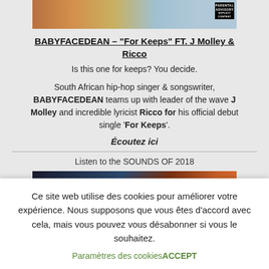[Figure (photo): Album cover photo with artists, partial view at top of page with Parental Advisory label]
BABYFACEDEAN – "For Keeps" FT. J Molley & Ricco
Is this one for keeps? You decide.
South African hip-hop singer & songswriter, BABYFACEDEAN teams up with leader of the wave J Molley and incredible lyricist Ricco for his official debut single 'For Keeps'.
Écoutez ici
Listen to the SOUNDS OF 2018
[Figure (photo): Partially visible music-related image at bottom of main content area]
Ce site web utilise des cookies pour améliorer votre expérience. Nous supposons que vous êtes d'accord avec cela, mais vous pouvez vous désabonner si vous le souhaitez.
Paramètres des cookiesACCEPT